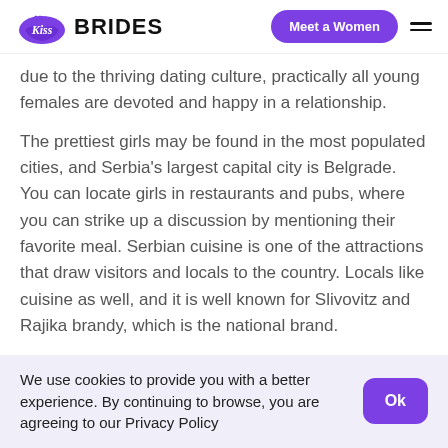Kiss Brides | Meet a Women
due to the thriving dating culture, practically all young females are devoted and happy in a relationship.
The prettiest girls may be found in the most populated cities, and Serbia's largest capital city is Belgrade. You can locate girls in restaurants and pubs, where you can strike up a discussion by mentioning their favorite meal. Serbian cuisine is one of the attractions that draw visitors and locals to the country. Locals like cuisine as well, and it is well known for Slivovitz and Rajika brandy, which is the national brand.
We use cookies to provide you with a better experience. By continuing to browse, you are agreeing to our Privacy Policy